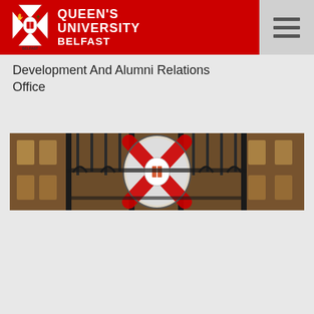QUEEN'S UNIVERSITY BELFAST
Development And Alumni Relations Office
[Figure (photo): Close-up photograph of Queen's University Belfast decorative iron gate with the university coat of arms shield (red X cross, white oval center, green harp, deer motifs) in the center, with ornate ironwork and blurred stone building facade in the background.]